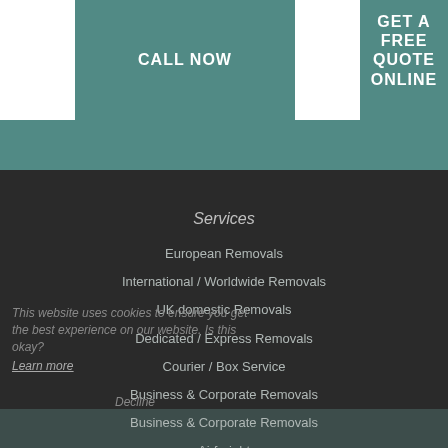CALL NOW
GET A FREE QUOTE ONLINE
Services
European Removals
International / Worldwide Removals
UK domestic Removals
Dedicated / Express Removals
Courier / Box Service
Business & Corporate Removals
Business & Corporate Removals
Airfreight
Car Transportation
This website uses cookies to ensure you get the best experience on our website. Is this okay?
Learn more
Decline